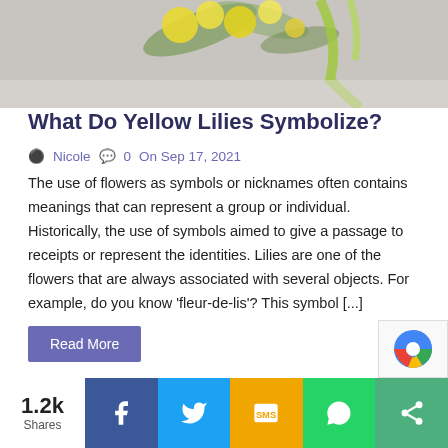[Figure (photo): Photo of yellow lilies/flowers with green ribbon on a light gray background, partially cropped at top]
What Do Yellow Lilies Symbolize?
Nicole  0  On Sep 17, 2021
The use of flowers as symbols or nicknames often contains meanings that can represent a group or individual. Historically, the use of symbols aimed to give a passage to receipts or represent the identities. Lilies are one of the flowers that are always associated with several objects. For example, do you know 'fleur-de-lis'? This symbol [...]
Read More
OLDER POSTS
1.2k Shares